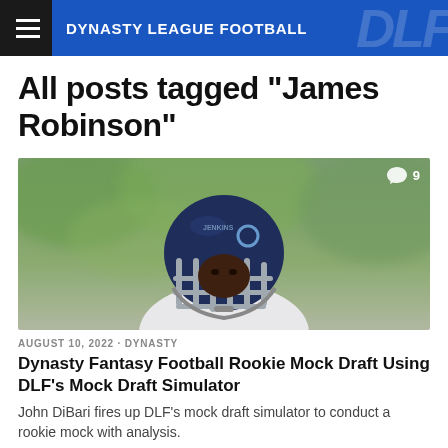DYNASTY LEAGUE FOOTBALL
All posts tagged "James Robinson"
[Figure (photo): Football player wearing a dark blue helmet and white jersey, photographed outdoors with a blurred green background. A comment bubble badge with the number 9 is shown in the upper right corner of the image.]
AUGUST 10, 2022 · DYNASTY
Dynasty Fantasy Football Rookie Mock Draft Using DLF's Mock Draft Simulator
John DiBari fires up DLF's mock draft simulator to conduct a rookie mock with analysis.